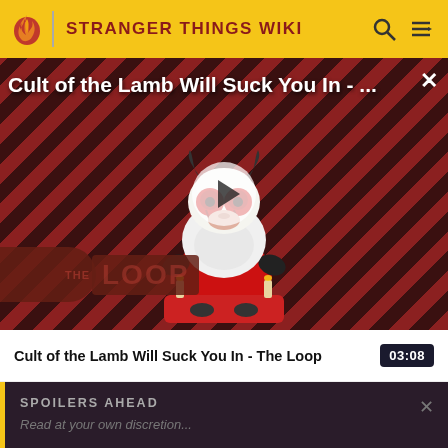STRANGER THINGS WIKI
[Figure (screenshot): Video thumbnail for 'Cult of the Lamb Will Suck You In - The Loop' showing a cartoon lamb character with red eyes on a diagonal red and dark striped background, with THE LOOP logo in the lower left and a play button overlay]
Cult of the Lamb Will Suck You In - The Loop
03:08
SPOILERS AHEAD
Read at your own discretion...